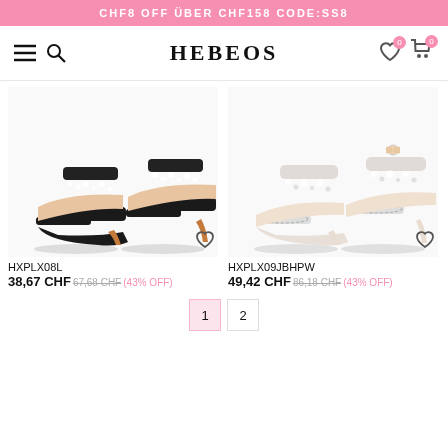CHF8 OFF ÜBER CHF158 CODE:SS8
[Figure (screenshot): HEBEOS website navigation bar with hamburger menu, search icon, HEBEOS logo, wishlist icon with badge 0, and cart icon with badge 0]
[Figure (photo): Black high heel sandals with crystal and pearl ankle strap embellishment, shown as a pair]
[Figure (photo): White/ivory high heel sandals with crystal and pearl ankle strap embellishment, shown as a pair]
HXPLX08L
38,67 CHF 67,68 CHF(43% OFF)
HXPLX09JBHPW
49,42 CHF 86,18 CHF(43% OFF)
1
2